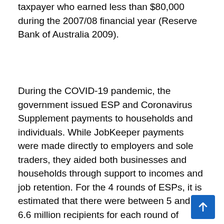taxpayer who earned less than $80,000 during the 2007/08 financial year (Reserve Bank of Australia 2009).
During the COVID-19 pandemic, the government issued ESP and Coronavirus Supplement payments to households and individuals. While JobKeeper payments were made directly to employers and sole traders, they aided both businesses and households through support to incomes and job retention. For the 4 rounds of ESPs, it is estimated that there were between 5 and 6.6 million recipients for each round of payments with an estimated total value of approximately $12 billion (Commonwealth of Australia 2020). The fortnightly Coronavirus Supplement was estimated to be worth around $20 billion and was provided to 2.2 million income support recipients as part of the regular welfare payments (Prime Minister of